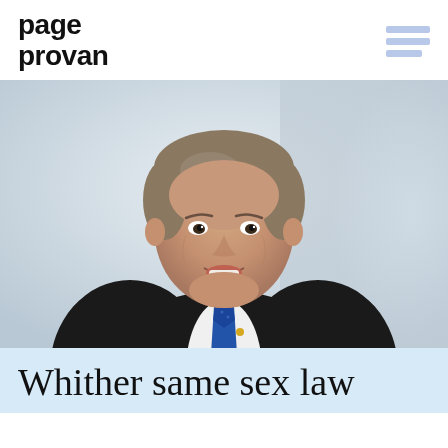page provan
[Figure (photo): Professional headshot of a middle-aged man with grey-brown hair, smiling, wearing a dark suit jacket, white shirt, and blue polka-dot tie with a small gold lapel pin. Blurred light background.]
Whither same sex law